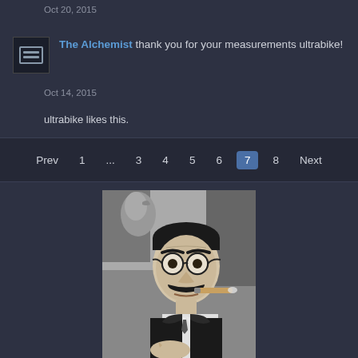Oct 20, 2015
The Alchemist thank you for your measurements ultrabike!
Oct 14, 2015
ultrabike likes this.
Prev  1  ...  3  4  5  6  7  8  Next
[Figure (photo): Black and white photograph of a man (resembling Groucho Marx) with round glasses, thick mustache, smoking a cigar, wearing a suit and tie, with a parrot visible on his shoulder]